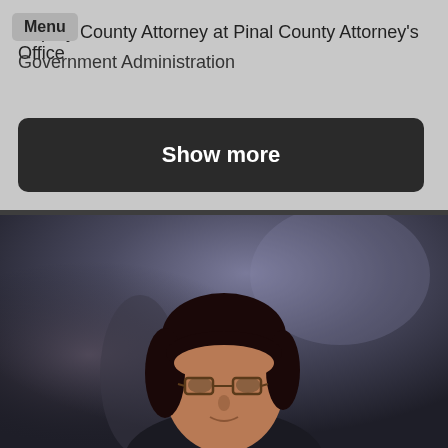Deputy County Attorney at Pinal County Attorney's Office
Government Administration
Show more
[Figure (photo): Portrait photo of a woman with dark hair and glasses against a mottled dark background]